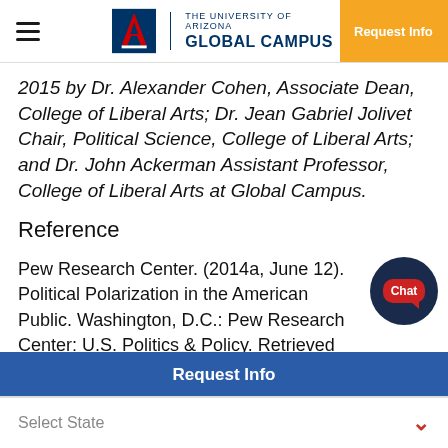THE UNIVERSITY OF ARIZONA GLOBAL CAMPUS | Request Info
2015 by Dr. Alexander Cohen, Associate Dean, College of Liberal Arts; Dr. Jean Gabriel Jolivet Chair, Political Science, College of Liberal Arts; and Dr. John Ackerman Assistant Professor, College of Liberal Arts at Global Campus.
Reference
Pew Research Center. (2014a, June 12). Political Polarization in the American Public. Washington, D.C.: Pew Research Center: U.S. Politics & Policy. Retrieved